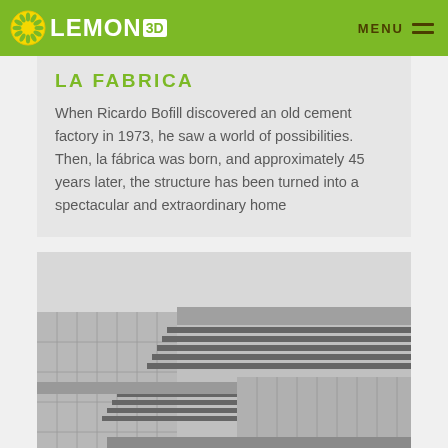LEMON3D — MENU
LA FABRICA
When Ricardo Bofill discovered an old cement factory in 1973, he saw a world of possibilities. Then, la fábrica was born, and approximately 45 years later, the structure has been turned into a spectacular and extraordinary home
[Figure (photo): Black and white architectural photograph of La Fabrica building showing geometric concrete structure with horizontal louvers/fins on the facade]